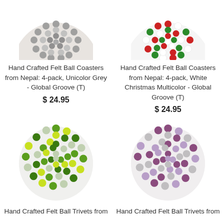[Figure (photo): Hand crafted felt ball coaster, unicolor grey, circular coaster made of grey felt balls]
Hand Crafted Felt Ball Coasters from Nepal: 4-pack, Unicolor Grey - Global Groove (T)
$ 24.95
[Figure (photo): Hand crafted felt ball coaster, white christmas multicolor with red, green and white felt balls]
Hand Crafted Felt Ball Coasters from Nepal: 4-pack, White Christmas Multicolor - Global Groove (T)
$ 24.95
[Figure (photo): Hand crafted felt ball trivet, green multicolor with lime, dark green and grey felt balls, full circular trivet]
Hand Crafted Felt Ball Trivets from
[Figure (photo): Hand crafted felt ball trivet, purple/lavender multicolor with maroon, lavender and grey felt balls, full circular trivet]
Hand Crafted Felt Ball Trivets from